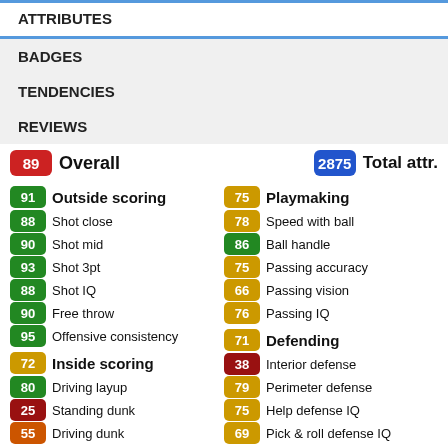ATTRIBUTES
BADGES
TENDENCIES
REVIEWS
89 Overall   2875 Total attr.
91 Outside scoring
88 Shot close
90 Shot mid
93 Shot 3pt
88 Shot IQ
90 Free throw
95 Offensive consistency
72 Inside scoring
80 Driving layup
25 Standing dunk
55 Driving dunk
75 Playmaking
78 Speed with ball
86 Ball handle
75 Passing accuracy
66 Passing vision
76 Passing IQ
71 Defending
38 Interior defense
79 Perimeter defense
75 Help defense IQ
69 Pick & roll defense IQ